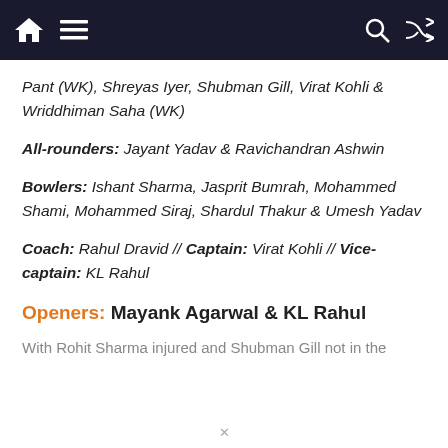Navigation bar with home, menu, search, and shuffle icons
Pant (WK), Shreyas Iyer, Shubman Gill, Virat Kohli & Wriddhiman Saha (WK)
All-rounders: Jayant Yadav & Ravichandran Ashwin
Bowlers: Ishant Sharma, Jasprit Bumrah, Mohammed Shami, Mohammed Siraj, Shardul Thakur & Umesh Yadav
Coach: Rahul Dravid // Captain: Virat Kohli // Vice-captain: KL Rahul
Openers: Mayank Agarwal & KL Rahul
With Rohit Sharma injured and Shubman Gill not in the